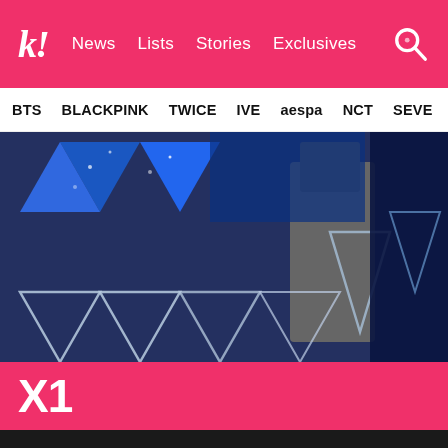k! News  Lists  Stories  Exclusives
BTS  BLACKPINK  TWICE  IVE  aespa  NCT  SEVE
[Figure (photo): Partial view of a K-pop stage set with blue glittery triangular geometric decorations and transparent acrylic triangle shapes in front, with a figure in grey visible in background.]
X1
Two Years After Their Disbandment, Here Are Where All 11 Of X1's Members Are Now
MIRAE's Son Dongpyo “Scolds” Himself To Stay Woke Against Gender Norms And Stereotypes